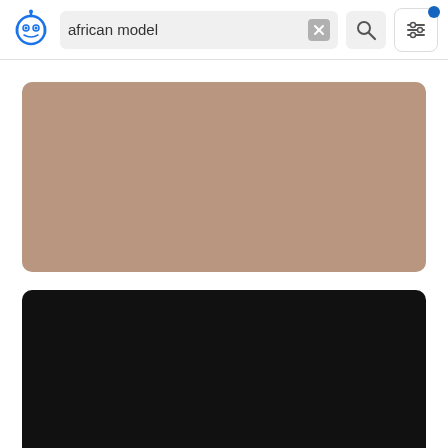[Figure (screenshot): App header with blue robot logo on left, search bar containing text 'african model' with X clear button and magnifying glass search icon, and a filter/settings icon button with blue notification dot in top right]
[Figure (photo): A large tan/brown-toned image placeholder (brownish-pink solid color), likely a loading or blurred image of an African model]
[Figure (photo): A large black image placeholder at the bottom, partially visible, likely a second search result image]